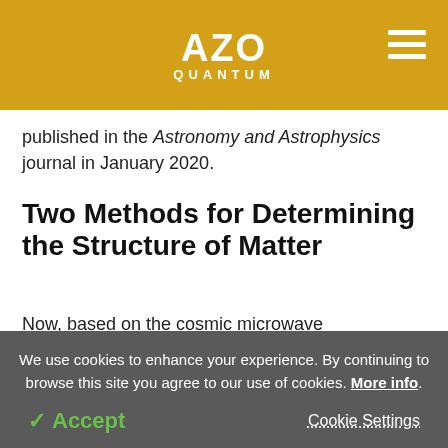AZO QUANTUM
published in the Astronomy and Astrophysics journal in January 2020.
Two Methods for Determining the Structure of Matter
Now, based on the cosmic microwave background, researchers can estimate the structure and density of matter in the Universe. Cosmic microwave
We use cookies to enhance your experience. By continuing to browse this site you agree to our use of cookies. More info.
✓ Accept   Cookie Settings